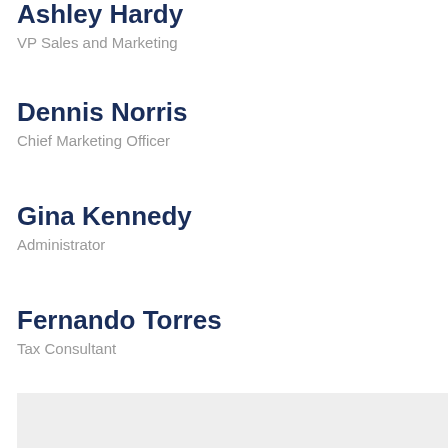Ashley Hardy
VP Sales and Marketing
Dennis Norris
Chief Marketing Officer
Gina Kennedy
Administrator
Fernando Torres
Tax Consultant